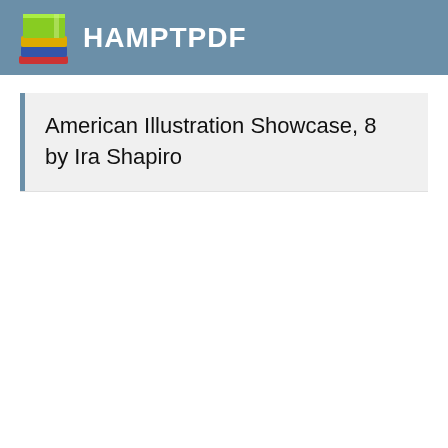HAMPTPDF
American Illustration Showcase, 8 by Ira Shapiro